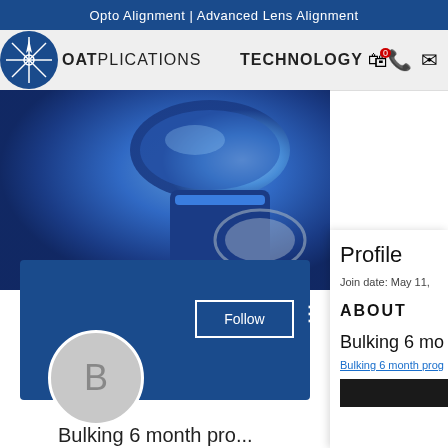Opto Alignment | Advanced Lens Alignment
[Figure (logo): OAT logo with star/compass design in blue circle, navigation bar with APPLICATIONS and TECHNOLOGY links and icons]
[Figure (photo): Close-up photograph of blue metallic lens alignment optics components]
Profile
Join date: May 11,
ABOUT
Bulking 6 mo
Bulking 6 month prog
[Figure (photo): Dark thumbnail image partially visible]
Bulking 6 month pro...
0 Followers • 0 Following